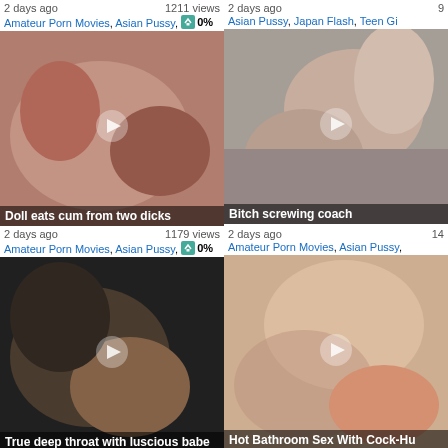2 days ago  1211 views
Amateur Porn Movies, Asian Pussy, 0%
[Figure (photo): Video thumbnail showing adult content, title: Doll eats cum from two dicks]
2 days ago  9... views
Asian Pussy, Japan Flash, Teen Gi...
[Figure (photo): Video thumbnail showing adult content, title: Bitch screwing coach]
2 days ago  1179 views
Amateur Porn Movies, Asian Pussy, 0%
[Figure (photo): Video thumbnail showing adult content, title: True deep throat with luscious babe]
2 days ago  14... views
Amateur Porn Movies, Asian Pussy,...
[Figure (photo): Video thumbnail showing adult content, title: Hot Bathroom Sex With Cock-Hu...]